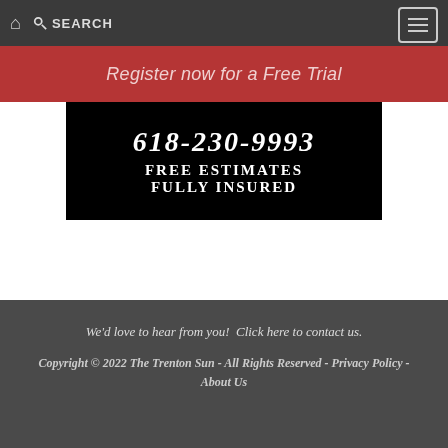🏠 SEARCH [menu]
Register now for a Free Trial
[Figure (other): Black advertisement block showing phone number 618-230-9993, FREE ESTIMATES, FULLY INSURED in white bold serif text on black background]
We'd love to hear from you!  Click here to contact us.
Copyright © 2022 The Trenton Sun - All Rights Reserved - Privacy Policy - About Us